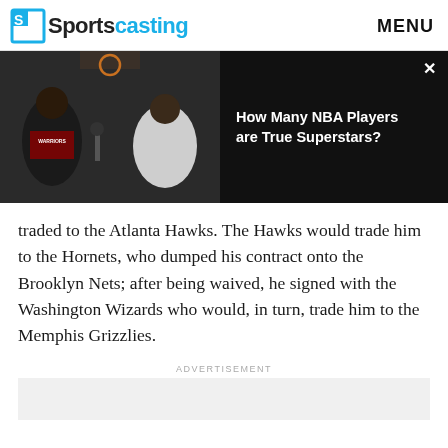Sportscasting | MENU
[Figure (screenshot): Video thumbnail showing two men at a podcast desk with basketball court background (left panel, dark) and text 'How Many NBA Players are True Superstars?' on black background (right panel)]
traded to the Atlanta Hawks. The Hawks would trade him to the Hornets, who dumped his contract onto the Brooklyn Nets; after being waived, he signed with the Washington Wizards who would, in turn, trade him to the Memphis Grizzlies.
ADVERTISEMENT